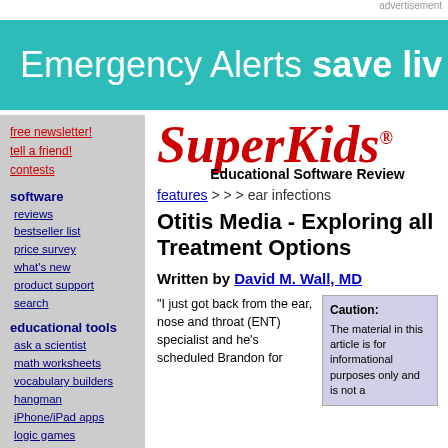advertisement
[Figure (infographic): Teal/turquoise banner ad reading 'Emergency Alerts save liv' (text cut off at right edge)]
free newsletter!
tell a friend!
contests
software
reviews
bestseller list
price survey
what's new
product support
search
educational tools
ask a scientist
math worksheets
vocabulary builders
hangman
iPhone/iPad apps
logic games
SuperKids® Educational Software Review
features > > > ear infections
Otitis Media - Exploring all Treatment Options
Written by David M. Wall, MD
"I just got back from the ear, nose and throat (ENT) specialist and he's scheduled Brandon for
Caution: The material in this article is for informational purposes only and is not a